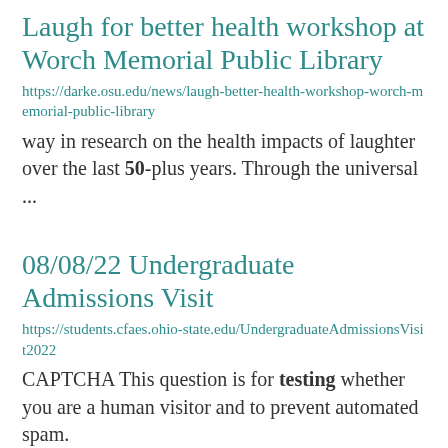Laugh for better health workshop at Worch Memorial Public Library
https://darke.osu.edu/news/laugh-better-health-workshop-worch-memorial-public-library
way in research on the health impacts of laughter over the last 50-plus years. Through the universal ...
08/08/22 Undergraduate Admissions Visit
https://students.cfaes.ohio-state.edu/UndergraduateAdmissionsVisit2022
CAPTCHA This question is for testing whether you are a human visitor and to prevent automated spam.